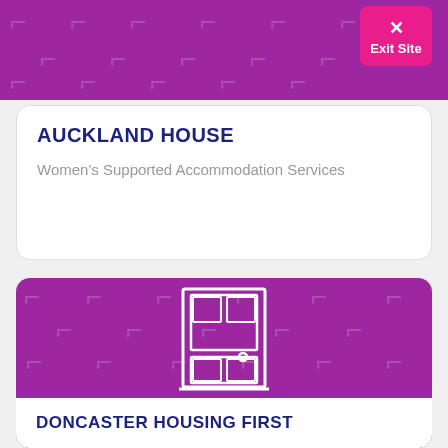[Figure (screenshot): Top purple banner with watermark arrow pattern, partially cut off at top]
[Figure (infographic): Pink 'Exit Site' button with X icon in top right corner]
AUCKLAND HOUSE
Women's Supported Accommodation Services
[Figure (illustration): Purple card with watermark arrow pattern and white outline door icon illustration]
DONCASTER HOUSING FIRST